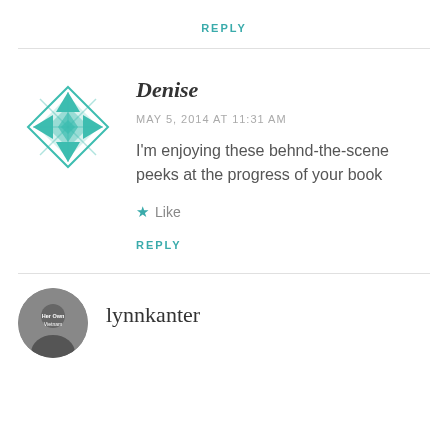REPLY
[Figure (illustration): Teal geometric snowflake/quilt-pattern avatar icon for user Denise]
Denise
MAY 5, 2014 AT 11:31 AM
I'm enjoying these behnd-the-scene peeks at the progress of your book
Like
REPLY
[Figure (photo): Circular avatar photo for user lynnkanter showing a person, with 'Her Own Vietnam' text overlay]
lynnkanter